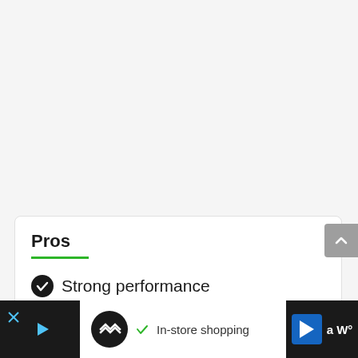Pros
Strong performance
[Figure (screenshot): Advertisement bar at bottom with logo, In-store shopping text, navigation icons]